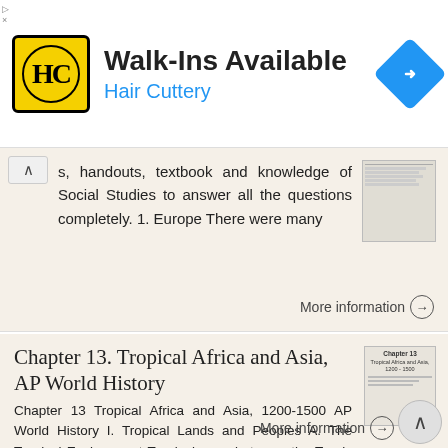[Figure (screenshot): Hair Cuttery advertisement banner with logo, 'Walk-Ins Available' text, and navigation icon]
s, handouts, textbook and knowledge of Social Studies to answer all the questions completely. 1. Europe There were many
More information →
Chapter 13. Tropical Africa and Asia, AP World History
Chapter 13 Tropical Africa and Asia, 1200-1500 AP World History I. Tropical Lands and Peoples A. The Tropical Environment Tropical zone between the Tropic of Cancer and Tropic of Capricorn. Equator in
More information →